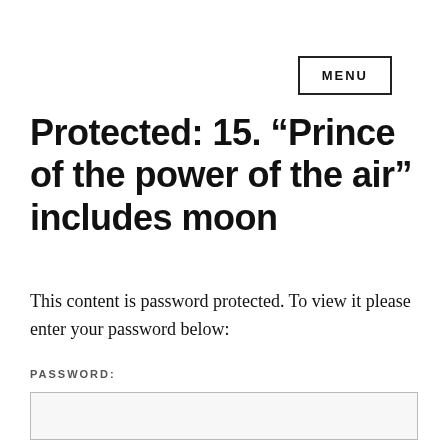MENU
Protected: 15. “Prince of the power of the air” includes moon
This content is password protected. To view it please enter your password below:
PASSWORD: